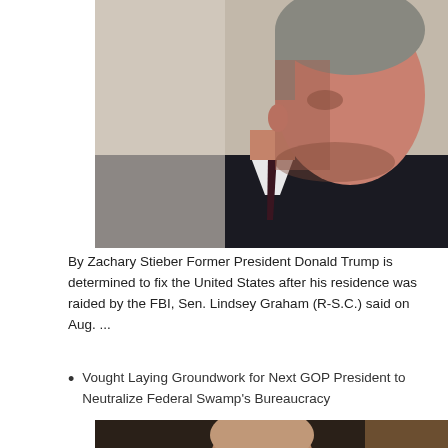[Figure (photo): Close-up portrait of a man in a dark suit and tie, seen in profile, with grey hair, looking to the left — Sen. Lindsey Graham]
By Zachary Stieber Former President Donald Trump is determined to fix the United States after his residence was raided by the FBI, Sen. Lindsey Graham (R-S.C.) said on Aug. ...
Vought Laying Groundwork for Next GOP President to Neutralize Federal Swamp's Bureaucracy
[Figure (photo): Man with glasses and shaved head speaking, seated indoors with curtains and a lamp visible in the background]